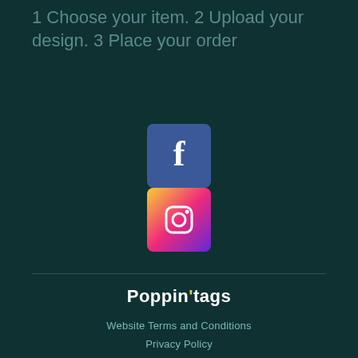1 Choose your item. 2 Upload your design. 3 Place your order
[Figure (logo): Facebook logo icon — blue rounded square with white 'f']
[Figure (logo): Instagram logo icon — gradient rounded square with camera outline]
Poppin'tags
Website Terms and Conditions
Privacy Policy
Consumer Terms and Conditions
Business Terms and Conditions